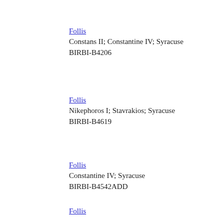Follis
Constans II; Constantine IV; Syracuse
BIRBI-B4206
Follis
Nikephoros I; Stavrakios; Syracuse
BIRBI-B4619
Follis
Constantine IV; Syracuse
BIRBI-B4542ADD
Follis